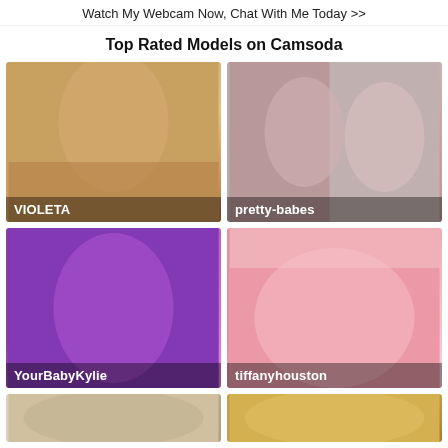Watch My Webcam Now, Chat With Me Today >>
Top Rated Models on Camsoda
[Figure (photo): Webcam model thumbnail labeled VIOLETA]
[Figure (photo): Webcam model thumbnail labeled pretty-babes]
[Figure (photo): Webcam model thumbnail labeled YourBabyKylie]
[Figure (photo): Webcam model thumbnail labeled tiffanyhouston]
[Figure (photo): Webcam model thumbnail (partial, bottom left)]
[Figure (photo): Webcam model thumbnail (partial, bottom right)]